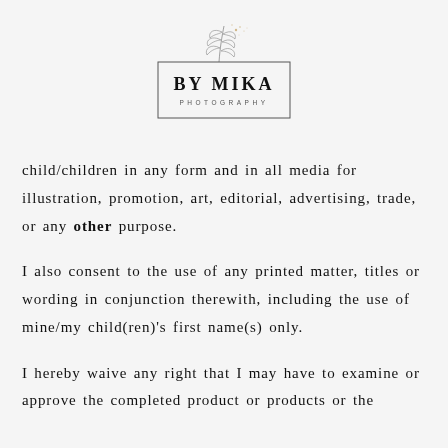[Figure (logo): By Mika Photography logo with botanical leaf illustration above a rectangle containing 'BY MIKA' in bold and 'PHOTOGRAPHY' in small caps]
child/children in any form and in all media for illustration, promotion, art, editorial, advertising, trade, or any other purpose.
I also consent to the use of any printed matter, titles or wording in conjunction therewith, including the use of mine/my child(ren)'s first name(s) only.
I hereby waive any right that I may have to examine or approve the completed product or products or the